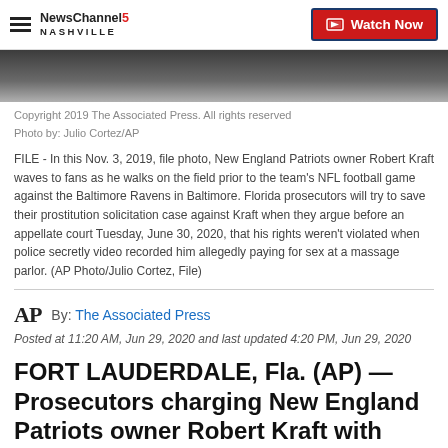NewsChannel 5 Nashville | Watch Now
[Figure (photo): Partial photo of person in dark clothing with pink tie — bottom portion of a news article image]
Copyright 2019 The Associated Press. All rights reserved
Photo by: Julio Cortez/AP
FILE - In this Nov. 3, 2019, file photo, New England Patriots owner Robert Kraft waves to fans as he walks on the field prior to the team's NFL football game against the Baltimore Ravens in Baltimore. Florida prosecutors will try to save their prostitution solicitation case against Kraft when they argue before an appellate court Tuesday, June 30, 2020, that his rights weren't violated when police secretly video recorded him allegedly paying for sex at a massage parlor. (AP Photo/Julio Cortez, File)
By: The Associated Press
Posted at 11:20 AM, Jun 29, 2020 and last updated 4:20 PM, Jun 29, 2020
FORT LAUDERDALE, Fla. (AP) — Prosecutors charging New England Patriots owner Robert Kraft with buying sex from massage parlor prostitutes are